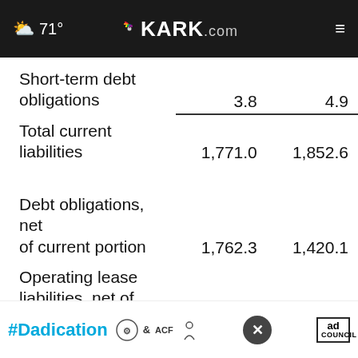☁ 71° | KARK.com
| Short-term debt obligations | 3.8 | 4.9 |
| Total current liabilities | 1,771.0 | 1,852.6 |
| Debt obligations, net of current portion | 1,762.3 | 1,420.1 |
| Operating lease liabilities, net of current |  | 111.4 |
| Capital lease |  |  |
[Figure (screenshot): Ad banner: #Dadication campaign with HHS ACF and Ad Council logos, close button]